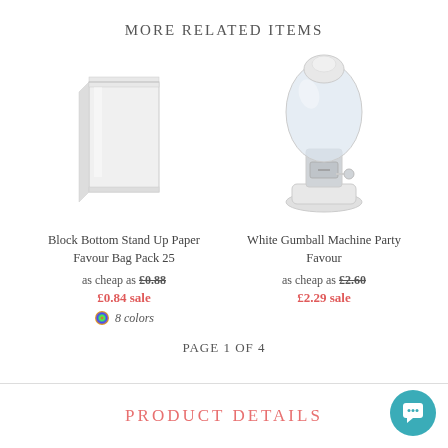MORE RELATED ITEMS
[Figure (photo): White paper bag - Block Bottom Stand Up Paper Favour Bag Pack 25]
Block Bottom Stand Up Paper Favour Bag Pack 25
as cheap as £0.88
£0.84 sale
8 colors
[Figure (photo): White gumball machine - White Gumball Machine Party Favour]
White Gumball Machine Party Favour
as cheap as £2.60
£2.29 sale
PAGE 1 OF 4
PRODUCT DETAILS